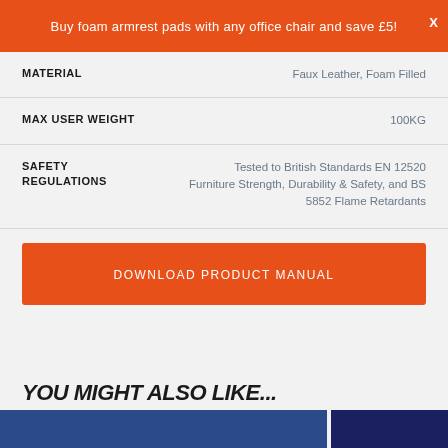Buy foam armrest pads with any office chair and save £5!
| Specification | Value |
| --- | --- |
| MATERIAL | Faux Leather, Foam Filled |
| MAX USER WEIGHT | 100KG |
| SAFETY REGULATIONS | Tested to British Standards EN 12520 Furniture Strength, Durability & Safety, and BS 5852 Flame Retardants |
DOWNLOAD PRODUCT MANUAL
YOU MIGHT ALSO LIKE...
[Figure (photo): Two product images shown at the bottom of the page]